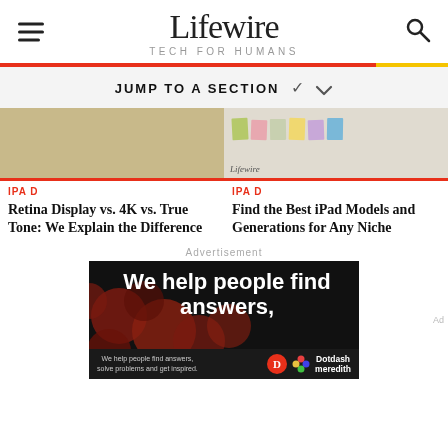Lifewire — TECH FOR HUMANS
JUMP TO A SECTION
[Figure (photo): Partial image of a tablet or device with beige/tan background — article thumbnail for Retina Display article]
IPA D
Retina Display vs. 4K vs. True Tone: We Explain the Difference
[Figure (photo): Colorful sticky notes arranged on a white surface with a Lifewire watermark — thumbnail for Best iPad Models article]
IPA D
Find the Best iPad Models and Generations for Any Niche
Advertisement
[Figure (photo): Dark advertisement banner with red bokeh dots and white bold text reading 'We help people find answers,' with Dotdash Meredith branding at bottom]